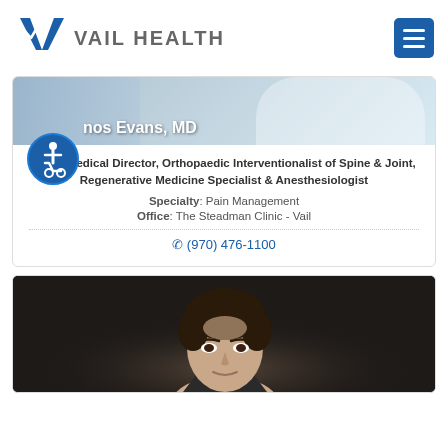[Figure (logo): Vail Health logo with blue V checkmark and VAIL HEALTH text]
[Figure (photo): Doctor banner photo with name overlay 'nos Evans, MD' (partially obscured by accessibility icon)]
VVSC Medical Director, Orthopaedic Interventionalist of Spine & Joint, Regenerative Medicine Specialist & Anesthesiologist
Specialty: Pain Management
Office: The Steadman Clinic - Vail
(970) 476-1100
[Figure (photo): Headshot photo of a man with dark hair against dark background, second doctor card]